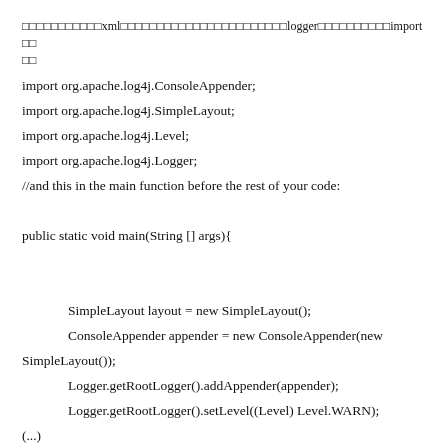□□□□□□□□□□□xml□□□□□□□□□□□□□□□□□□□□□□□logger□□□□□□□□□□□import□□ □□
import org.apache.log4j.ConsoleAppender;
import org.apache.log4j.SimpleLayout;
import org.apache.log4j.Level;
import org.apache.log4j.Logger;
//and this in the main function before the rest of your code:

public static void main(String [] args){

    SimpleLayout layout = new SimpleLayout();
    ConsoleAppender appender = new ConsoleAppender(new SimpleLayout());
    Logger.getRootLogger().addAppender(appender);
    Logger.getRootLogger().setLevel((Level) Level.WARN);
(...)